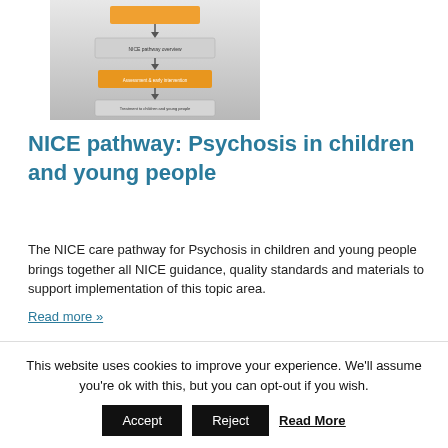[Figure (flowchart): NICE pathway flowchart diagram with orange and grey boxes showing decision steps for psychosis in children and young people]
NICE pathway: Psychosis in children and young people
The NICE care pathway for Psychosis in children and young people brings together all NICE guidance, quality standards and materials to support implementation of this topic area.
Read more »
January 1, 2013
[Figure (illustration): Venn diagram with overlapping pink, green, and brown/grey circles]
This website uses cookies to improve your experience. We'll assume you're ok with this, but you can opt-out if you wish.
Accept  Reject  Read More